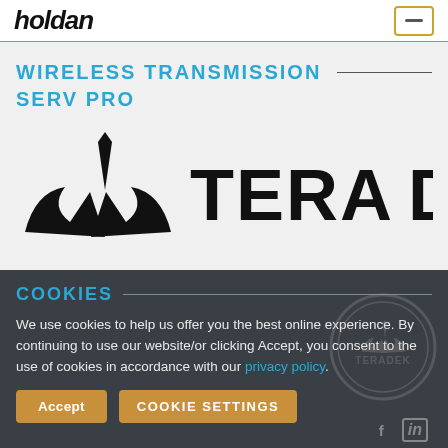holdan
WIRELESS TRANSMISSION SERV PRO
[Figure (logo): Teradek brand logo with bat-wing/arrow icon and TERADEK wordmark in black on light gray background]
COOKIES
We use cookies to help us offer you the best online experience. By continuing to use our website/or clicking Accept, you consent to the use of cookies in accordance with our privacy policy.
Accept | COOKIE SETTINGS